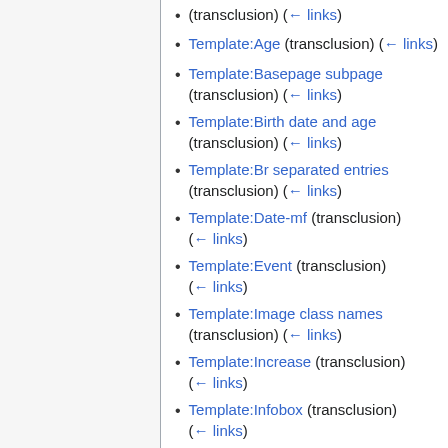(transclusion) (← links)
Template:Age (transclusion) (← links)
Template:Basepage subpage (transclusion) (← links)
Template:Birth date and age (transclusion) (← links)
Template:Br separated entries (transclusion) (← links)
Template:Date-mf (transclusion) (← links)
Template:Event (transclusion) (← links)
Template:Image class names (transclusion) (← links)
Template:Increase (transclusion) (← links)
Template:Infobox (transclusion) (← links)
Template:MONTHNAME